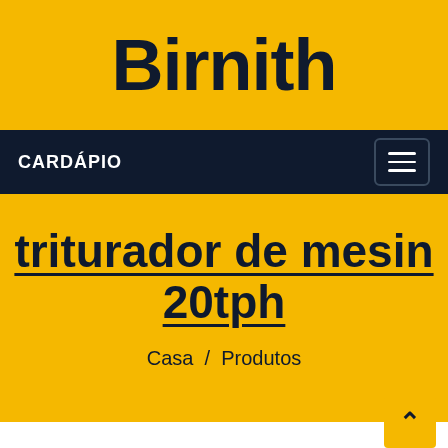Birnith
CARDÁPIO
triturador de mesin 20tph
Casa / Produtos